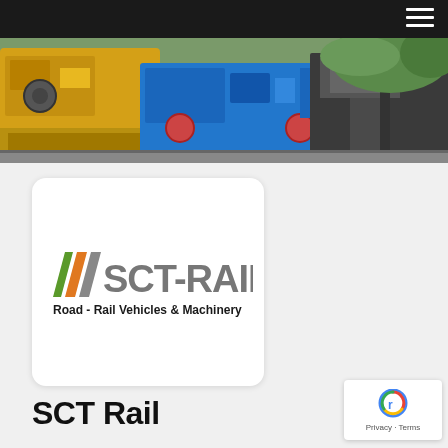[Figure (photo): Hero banner photo showing yellow and blue road-rail machinery/vehicles on tracks with green foliage in the background]
[Figure (logo): SCT-RAIL logo showing three diagonal stripes in green, orange, and gray colors followed by the text SCT-RAIL in gray, with tagline 'Road - Rail Vehicles & Machinery' below]
SCT Rail